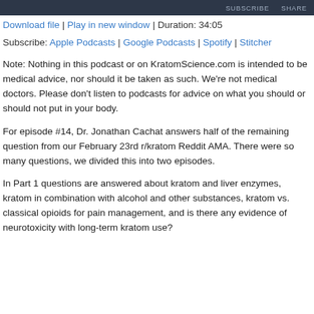SUBSCRIBE  SHARE
Download file | Play in new window | Duration: 34:05
Subscribe: Apple Podcasts | Google Podcasts | Spotify | Stitcher
Note: Nothing in this podcast or on KratomScience.com is intended to be medical advice, nor should it be taken as such. We're not medical doctors. Please don't listen to podcasts for advice on what you should or should not put in your body.
For episode #14, Dr. Jonathan Cachat answers half of the remaining question from our February 23rd r/kratom Reddit AMA. There were so many questions, we divided this into two episodes.
In Part 1 questions are answered about kratom and liver enzymes, kratom in combination with alcohol and other substances, kratom vs. classical opioids for pain management, and is there any evidence of neurotoxicity with long-term kratom use?